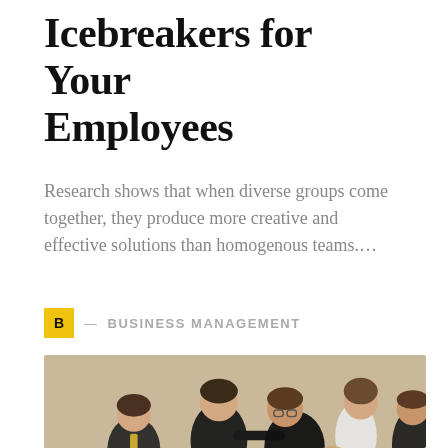Icebreakers for Your Employees
Research shows that when diverse groups come together, they produce more creative and effective solutions than homogenous teams.…
B — BUSINESS MANAGEMENT
[Figure (photo): Group of business professionals in suits appearing to engage in a chaotic physical altercation or rough icebreaker activity in an office setting]